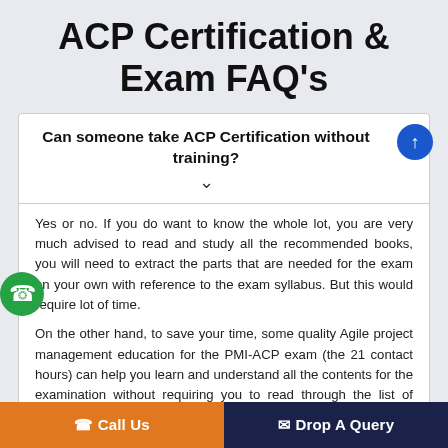ACP Certification & Exam FAQ's
Can someone take ACP Certification without training?
Yes or no. If you do want to know the whole lot, you are very much advised to read and study all the recommended books, you will need to extract the parts that are needed for the exam on your own with reference to the exam syllabus. But this would require lot of time.
On the other hand, to save your time, some quality Agile project management education for the PMI-ACP exam (the 21 contact hours) can help you learn and understand all the contents for the examination without requiring you to read through the list of books. They have done the hard work of extracting the essences of each book and re-arrange them into a structure that's in line with the PMI-ACP® examination content outline.
An individual can choose StarAgile to help you to study and pass the PMI-ACP exam as it is the most cost effective and comprehensive prep
📞 Call Us    ✉ Drop A Query